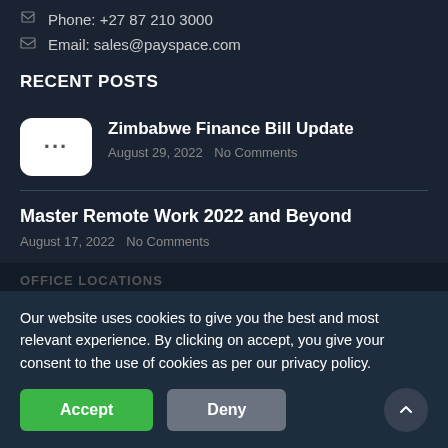Phone: +27 87 210 3000
Email: sales@payspace.com
RECENT POSTS
Zimbabwe Finance Bill Update
August 29, 2022  No Comments
Master Remote Work 2022 and Beyond
August 17, 2022  No Comments
OFFICE LOCATIONS
Johannesburg
Cape Town
Pretoria
Our website uses cookies to give you the best and most relevant experience. By clicking on accept, you give your consent to the use of cookies as per our privacy policy.